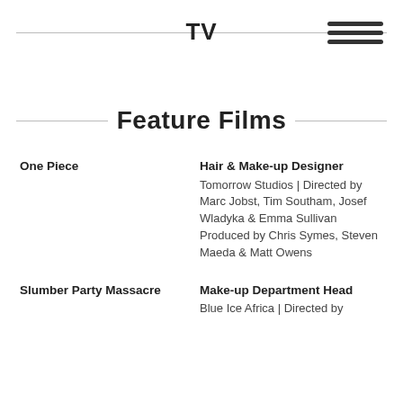TV
Feature Films
One Piece | Hair & Make-up Designer | Tomorrow Studios | Directed by Marc Jobst, Tim Southam, Josef Wladyka & Emma Sullivan | Produced by Chris Symes, Steven Maeda & Matt Owens
Slumber Party Massacre | Make-up Department Head | Blue Ice Africa | Directed by